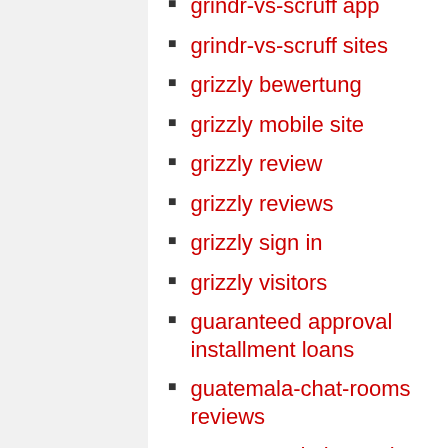grindr-vs-scruff app
grindr-vs-scruff sites
grizzly bewertung
grizzly mobile site
grizzly review
grizzly reviews
grizzly sign in
grizzly visitors
guaranteed approval installment loans
guatemala-chat-rooms reviews
guyanese-dating reviews
guyspy visitors
habbo come funziona
habbo connexion